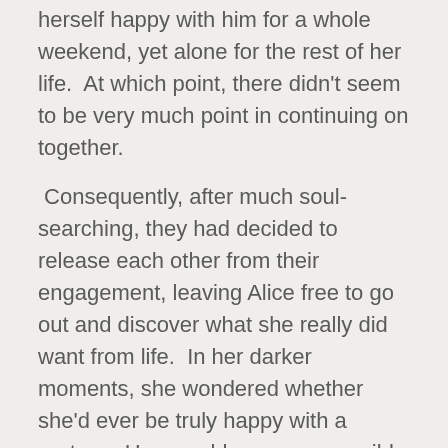herself happy with him for a whole weekend, yet alone for the rest of her life.  At which point, there didn't seem to be very much point in continuing on together.
Consequently, after much soul-searching, they had decided to release each other from their engagement, leaving Alice free to go out and discover what she really did want from life.  In her darker moments, she wondered whether she'd ever be truly happy with a partner.  How could one man possibly fulfil all of her hopes, needs and desires, providing support throughout the highs and gentle understanding through the lows?  And then, in bed, to provide her full range of needs, from sensual love through to dominant and occasionally, just downright dirty sex.  It felt like the impossible ask.